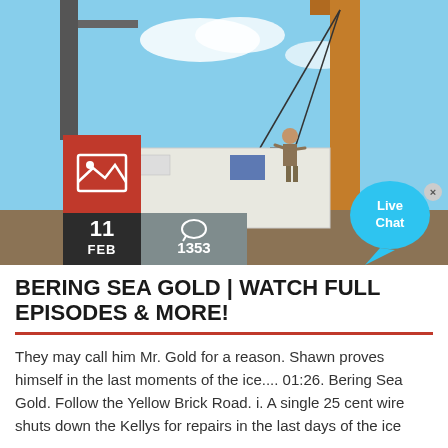[Figure (photo): Construction/mining scene with a worker standing on top of a white equipment box, operating a crane with cables against a blue sky. An orange crane arm is visible on the right side. A red image icon box overlay is on the lower left of the image, with date '11 FEB' in dark box and comment count '1353' in grey box. A 'Live Chat' bubble is on the lower right.]
BERING SEA GOLD | WATCH FULL EPISODES & MORE!
They may call him Mr. Gold for a reason. Shawn proves himself in the last moments of the ice.... 01:26. Bering Sea Gold. Follow the Yellow Brick Road. i. A single 25 cent wire shuts down the Kellys for repairs in the last days of the ice